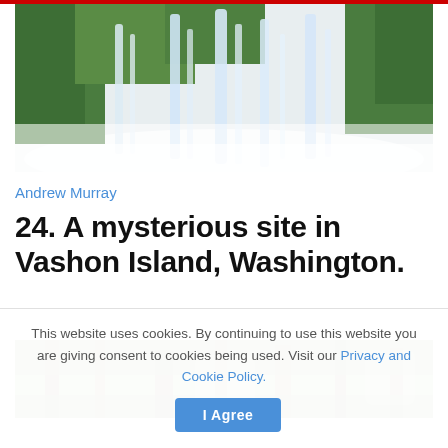[Figure (photo): Waterfall with lush green moss-covered rocks and misty spray at the bottom]
Andrew Murray
24. A mysterious site in Vashon Island, Washington.
[Figure (photo): Dense forest with tall trees and green foliage]
This website uses cookies. By continuing to use this website you are giving consent to cookies being used. Visit our Privacy and Cookie Policy.  I Agree